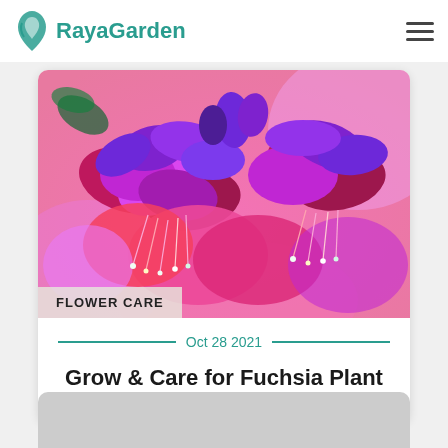RayaGarden
[Figure (photo): Close-up photo of vibrant fuchsia/magenta flowers with purple petals and dangling stamens against a blurred pink background]
FLOWER CARE
Oct 28 2021
Grow & Care for Fuchsia Plant